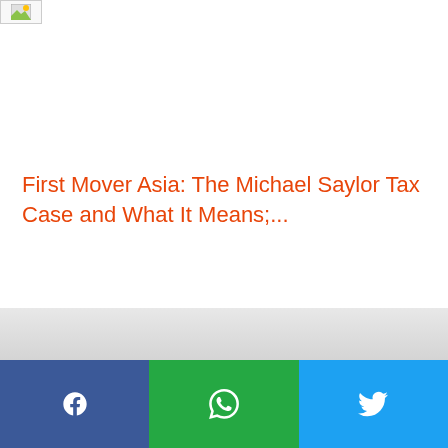[Figure (illustration): Small image placeholder icon in top-left corner]
First Mover Asia: The Michael Saylor Tax Case and What It Means;...
[Figure (other): Gray horizontal band separator]
[Figure (other): Social sharing bar with Facebook, WhatsApp, and Twitter buttons]